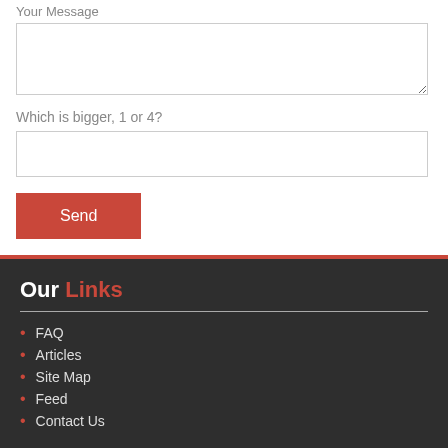Your Message
Which is bigger, 1 or 4?
Send
Our Links
FAQ
Articles
Site Map
Feed
Contact Us